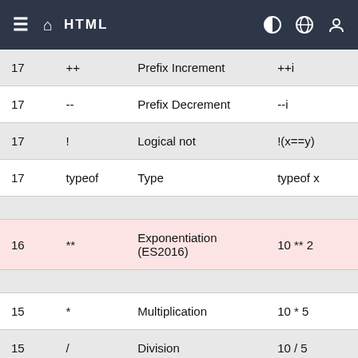HTML
| Precedence | Operator | Description | Example |
| --- | --- | --- | --- |
| 17 | ++ | Prefix Increment | ++i |
| 17 | -- | Prefix Decrement | --i |
| 17 | ! | Logical not | !(x==y) |
| 17 | typeof | Type | typeof x |
|  |  |  |  |
| 16 | ** | Exponentiation (ES2016) | 10 ** 2 |
|  |  |  |  |
| 15 | * | Multiplication | 10 * 5 |
| 15 | / | Division | 10 / 5 |